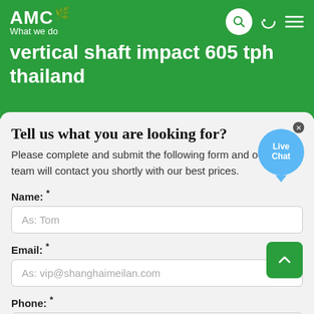AMC — What we do
vertical shaft impact 605 tph thailand
Tell us what you are looking for?
Please complete and submit the following form and our sales team will contact you shortly with our best prices.
Name: *
As: Tom
Email: *
As: vip@shanghaimeilan.com
Phone: *
With Country Code